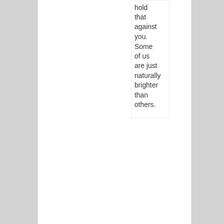hold that against you. Some of us are just naturally brighter than others.
[Figure (photo): Avatar image of an alien face with large dark eyes, grey skin, on a blue/dark background]
Hatterasman
June 14, 2015 at 7:54 pm
That is the whole problem with the younger generation today. They are too easily offended, and then they all get together on social media with their online pity parties. Websites like Tumblr and Twitter are super-saturated with PC pity parties claiming that "white privilege" is destroying their pathetic lives. If you take a look at the poster's pages,